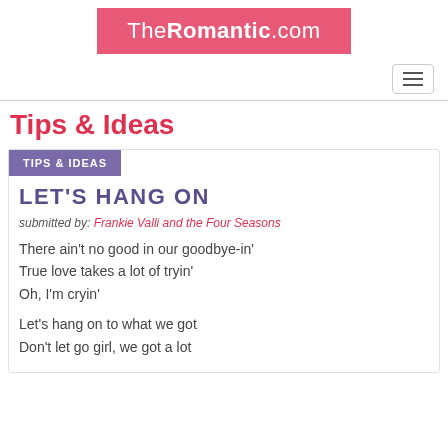[Figure (logo): TheRomantic.com logo on pink/red background]
[Figure (other): Hamburger menu icon button]
Tips & Ideas
TIPS & IDEAS
LET'S HANG ON
submitted by: Frankie Valli and the Four Seasons
There ain't no good in our goodbye-in'
True love takes a lot of tryin'
Oh, I'm cryin'
Let's hang on to what we got
Don't let go girl, we got a lot